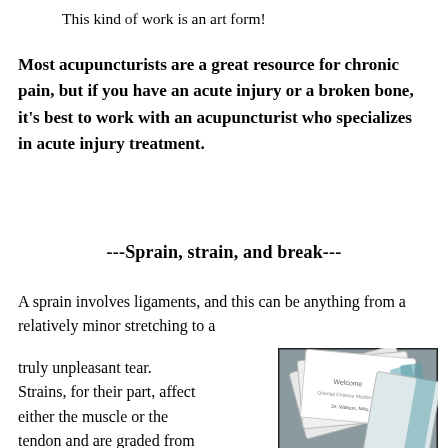This kind of work is an art form!
Most acupuncturists are a great resource for chronic pain, but if you have an acute injury or a broken bone, it's best to work with an acupuncturist who specializes in acute injury treatment.
---Sprain, strain, and break---
A sprain involves ligaments, and this can be anything from a relatively minor stretching to a truly unpleasant tear. Strains, for their part, affect either the muscle or the tendon and are graded from one to three (minor to complete tear).  A broken bone can range from a clean
[Figure (photo): A photograph showing a fan of business cards and what appears to be a bar of soap with a decorative label, arranged on a surface.]